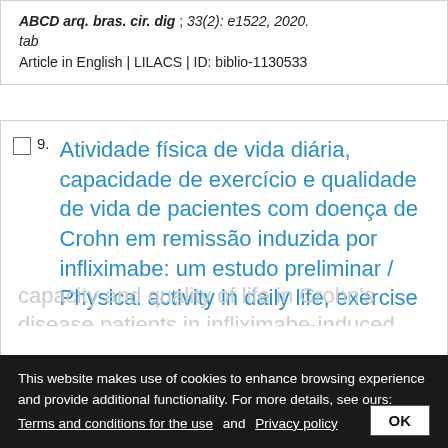ABCD arq. bras. cir. dig; 33(2): e1522, 2020. tab
Article in English | LILACS | ID: biblio-1130533
9. Atividade física de vida diária, capacidade de exercício e qualidade de vida de pacientes com doença de Crohn em remissão induzida por infliximabe: um estudo preliminar / Physical activity in daily life, exercise
This website makes use of cookies to enhance browsing experience and provide additional functionality. For more details, see ours: Terms and conditions for the use and Privacy policy